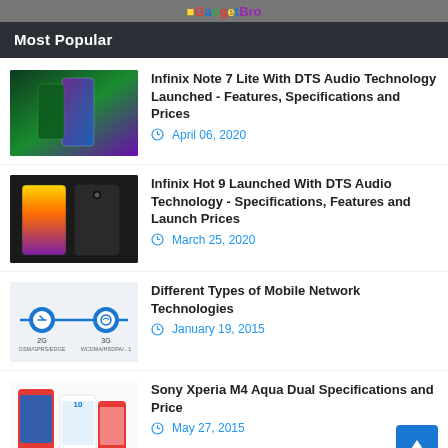GadgetBro
Most Popular
[Figure (photo): Infinix Note 7 Lite smartphone in green and purple gradient colors]
Infinix Note 7 Lite With DTS Audio Technology Launched - Features, Specifications and Prices
April 06, 2020
[Figure (photo): Infinix Hot 9 smartphones showing yellow-gradient and black models]
Infinix Hot 9 Launched With DTS Audio Technology - Specifications, Features and Launch Prices
March 25, 2020
[Figure (infographic): Mobile network technologies diagram showing 2G and 3G icons on a timeline]
Different Types of Mobile Network Technologies
January 19, 2015
[Figure (photo): Sony Xperia M4 Aqua Dual in white and red colors]
Sony Xperia M4 Aqua Dual Specifications and Price
May 27, 2015
[Figure (photo): Samsung Galaxy Active Neo SC-01H smartphone]
Samsung Galaxy Active Neo SC-01H